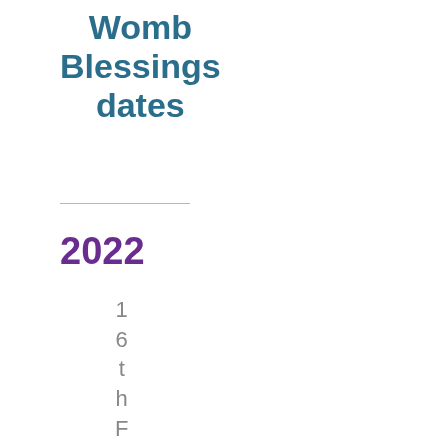Womb Blessings dates
2022
16th February 1